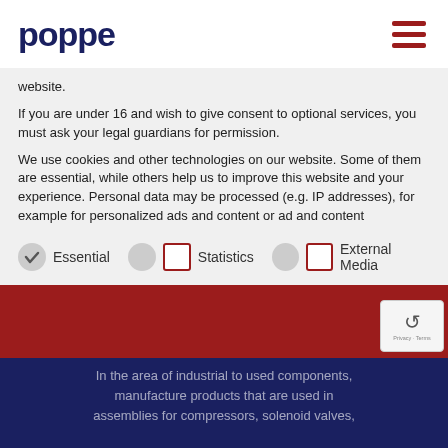poppe
website.
If you are under 16 and wish to give consent to optional services, you must ask your legal guardians for permission.
We use cookies and other technologies on our website. Some of them are essential, while others help us to improve this website and your experience. Personal data may be processed (e.g. IP addresses), for example for personalized ads and content or ad and content measurement. You can find more information about the use of your data in our privacy policy. You can revoke or
Essential
Statistics
External Media
In the area of industrial to used components, manufacture products that are used in assemblies for compressors, solenoid valves,